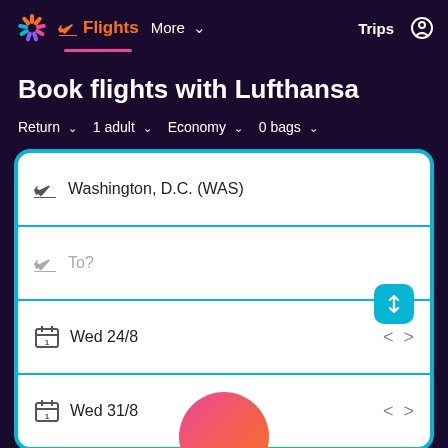Flights  More  Trips
Book flights with Lufthansa
Return  1 adult  Economy  0 bags
Washington, D.C. (WAS)
To?
Wed 24/8
Wed 31/8